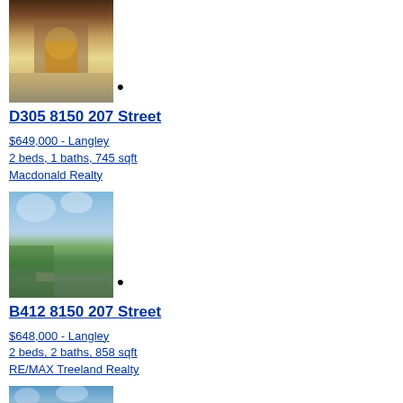[Figure (photo): Exterior photo of brick building entrance with lit doorway]
•
D305 8150 207 Street
$649,000 - Langley
2 beds, 1 baths, 745 sqft
Macdonald Realty
[Figure (photo): Outdoor landscape photo with trees and mountains in background under cloudy sky]
•
B412 8150 207 Street
$648,000 - Langley
2 beds, 2 baths, 858 sqft
RE/MAX Treeland Realty
[Figure (photo): Partial outdoor/building photo at bottom of page]